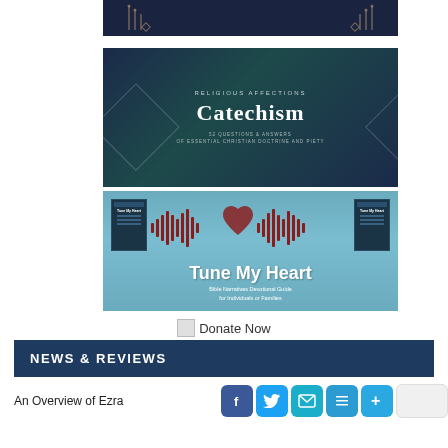[Figure (illustration): Dark navy decorative banner with gold/bronze vertical line decorations and diamond shapes on both sides]
[Figure (illustration): Catechism book cover: dark teal/navy gradient background with diamond geometric borders, text 'RELIGIOUS AFFECTIONS' at top, large white bold 'Catechism' title, subtitle text '52 QUESTIONS & ANSWERS OF ESSENTIAL CHRISTIAN DOCTRINE AND PIETY']
[Figure (illustration): Tune My Heart promotional banner: light blue background, audio waveform with red heart shape in center, book covers on left and right sides, large white bold 'Tune My Heart' title, subtitle 'Bible Narratives Devotional Guide for Individuals or Families']
Donate Now
NEWS & REVIEWS
An Overview of Ezra